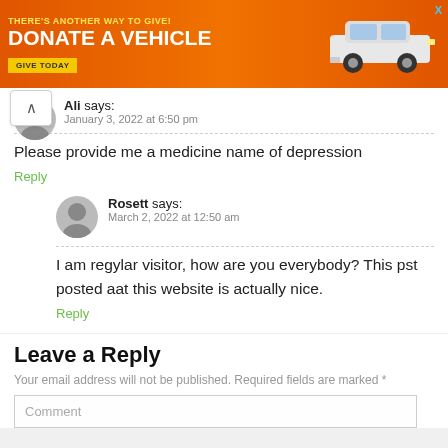[Figure (infographic): Orange advertisement banner: 'THERE'S ANOTHER WAY TO GIVE! DONATE A VEHICLE' with a yellow GIVE TODAY button and car illustration]
Ali says:
January 3, 2022 at 6:50 pm
Please provide me a medicine name of depression
Reply
Rosett says:
March 2, 2022 at 12:50 am
I am regylar visitor, how are you everybody? This pst posted aat this website is actually nice.
Reply
Leave a Reply
Your email address will not be published. Required fields are marked *
Comment